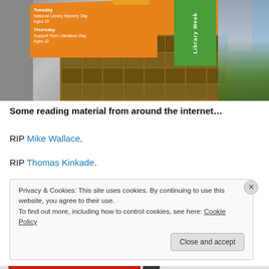[Figure (photo): Photo of a library interior with an orange promotional banner showing 'National Library Week' events, a wooden bookshelf with many items, and glass windows on the right side.]
Some reading material from around the internet...
RIP Mike Wallace.
RIP Thomas Kinkade.
Privacy & Cookies: This site uses cookies. By continuing to use this website, you agree to their use.
To find out more, including how to control cookies, see here: Cookie Policy